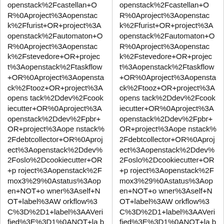openstack%2Fcastellan+OR%0Aproject%3Aopenstack%2Ffurist+OR+project%3Aopenstack%2Fautomaton+OR%0Aproject%3Aopenstack%2Fstevedore+OR+project%3Aopenstack%2Ftaskflow+OR%0Aproject%3Aopenstack%2Ftooz+OR+project%3Aopenstack%2Ddev%2Fcookiecutter+OR%0Aproject%3Aopenstack%2Ddev%2Fpbr+OR+project%3Aopenstack%2Fdebtcollector+OR%0Aproject%3Aopenstack%2Ddev%2Foslo%2Dcookiecutter+OR+project%3Aopenstack%2Fmox3%29%0Astatus%3Aopen+NOT+owner%3Aself+NOT+label%3AWorkflow%3C%3D%2D1+label%3AAVerified%3E%3D1%0ANOT+label%3ACode%2DReview%3C%3D%2D1%2Cself+NOT+label%3ACode%2DReview%3E%3D1%2Cself&title=Oslo+Review+Inbox
openstack%2Fcastellan+OR%0Aproject%3Aopenstack%2Ffurist+OR+project%3Aopenstack%2Fautomaton+OR%0Aproject%3Aopenstack%2Fstevedore+OR+project%3Aopenstack%2Ftaskflow+OR%0Aproject%3Aopenstack%2Ftooz+OR+project%3Aopenstack%2Ddev%2Fcookiecutter+OR%0Aproject%3Aopenstack%2Ddev%2Fpbr+OR+project%3Aopenstack%2Fdebtcollector+OR%0Aproject%3Aopenstack%2Ddev%2Foslo%2Dcookiecutter+OR+project%3Aopenstack%2Fmox3%29%0Astatus%3Aopen+NOT+owner%3Aself+NOT+label%3AWorkflow%3C%3D%2D1+label%3AAVerified%3E%3D1%0ANOT+label%3ACode%2DReview%3C%3D%2D1%2Cself+NOT+label%3ACode%2DReview%3E%3D1%2Cself&title=Oslo+Review+Inbox